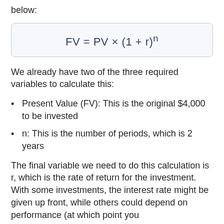below:
We already have two of the three required variables to calculate this:
Present Value (FV): This is the original $4,000 to be invested
n: This is the number of periods, which is 2 years
The final variable we need to do this calculation is r, which is the rate of return for the investment. With some investments, the interest rate might be given up front, while others could depend on performance (at which point you